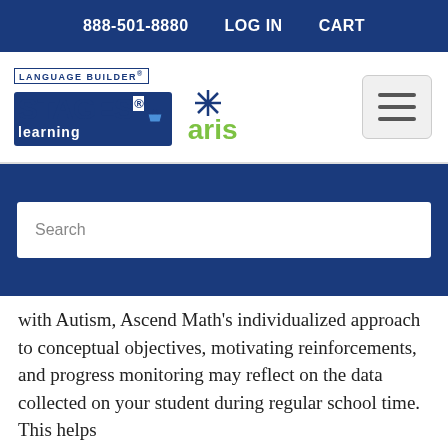888-501-8880   LOG IN   CART
[Figure (logo): Language Builder Stages Learning and Aris logo]
[Figure (other): Hamburger menu button (three horizontal lines)]
Search
with Autism, Ascend Math's individualized approach to conceptual objectives, motivating reinforcements, and progress monitoring may reflect on the data collected on your student during regular school time. This helps